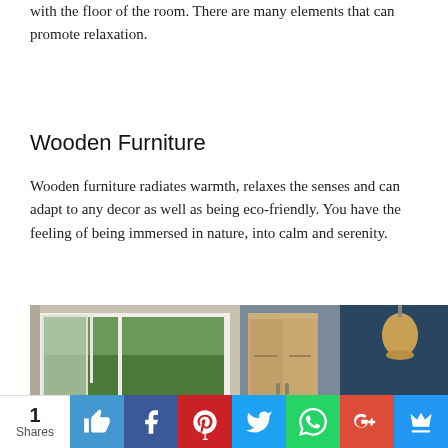with the floor of the room. There are many elements that can promote relaxation.
Wooden Furniture
Wooden furniture radiates warmth, relaxes the senses and can adapt to any decor as well as being eco-friendly. You have the feeling of being immersed in nature, into calm and serenity.
[Figure (photo): Interior bedroom photo showing a wooden wardrobe, bay window with garden view, yellow vase, wooden side table, pendant lamp, and wooden bed frame against a dark blue wall.]
1 Shares | Social share buttons: thumbs up, Facebook, Pinterest (1), Twitter, WhatsApp, Google+, Crown